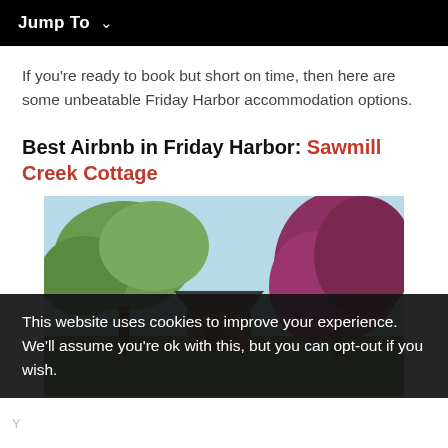Jump To ∨
If you're ready to book but short on time, then here are some unbeatable Friday Harbor accommodation options.
Best Airbnb in Friday Harbor: Sawmill Creek Cottage
[Figure (photo): Exterior photo of Sawmill Creek Cottage showing a cabin with dark roof surrounded by green trees and a large purple-red flowering tree on the right side, under a blue sky.]
This website uses cookies to improve your experience. We'll assume you're ok with this, but you can opt-out if you wish.